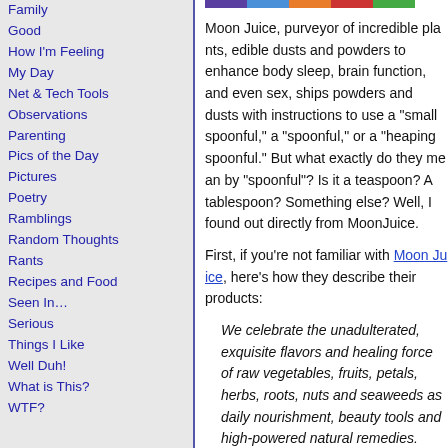Family
Good
How I'm Feeling
My Day
Net & Tech Tools
Observations
Parenting
Pics of the Day
Pictures
Poetry
Ramblings
Random Thoughts
Rants
Recipes and Food
Seen In…
Serious
Things I Like
Well Duh!
What is This?
WTF?
Moon Juice, purveyor of incredible pla... edible dusts and powders to enhance b... sleep, brain function, and even sex, shi... powders and dusts with instructions to ... "small spoonful," a "spoonful," or a "hea... spoonful." But what exactly do they me... "spoonful"? Is it a teaspoon? A tablespoo... Something else? Well, I found out direc... MoonJuice.
First, if you're not familiar with Moon Ju... how they describe their products:
We celebrate the unadulterated, exqu... flavors and healing force of raw vegeta... fruits, petals, herbs, roots, nuts and seaweeds as daily nourishment, beau... tools and high-powered natural remed... Explore our organic pressed juices, M... Milks, Cosmic Provisions, the Moon Pa... and our Moon Dust collection.